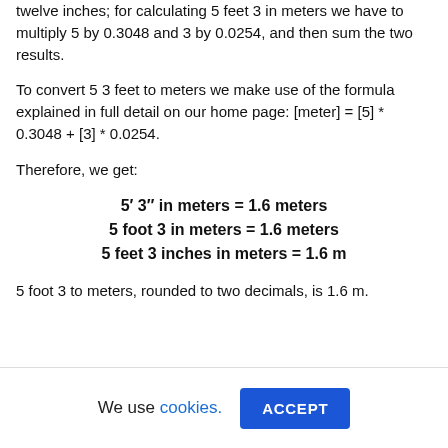twelve inches; for calculating 5 feet 3 in meters we have to multiply 5 by 0.3048 and 3 by 0.0254, and then sum the two results.
To convert 5 3 feet to meters we make use of the formula explained in full detail on our home page: [meter] = [5] * 0.3048 + [3] * 0.0254.
Therefore, we get:
5′ 3″ in meters = 1.6 meters
5 foot 3 in meters = 1.6 meters
5 feet 3 inches in meters = 1.6 m
5 foot 3 to meters, rounded to two decimals, is 1.6 m.
We use cookies. ACCEPT